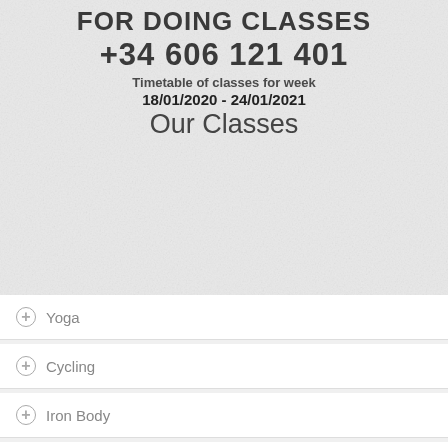FOR DOING CLASSES
+34 606 121 401
Timetable of classes for week
18/01/2020 - 24/01/2021
Our Classes
Yoga
Cycling
Iron Body
Core